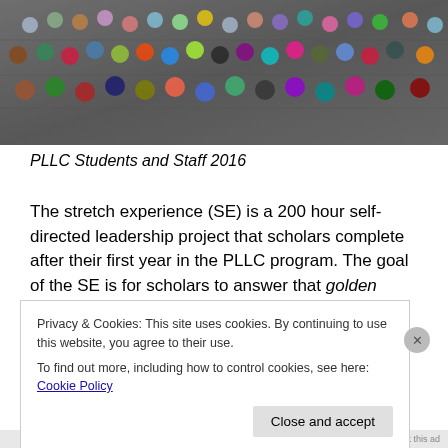[Figure (photo): Group photo of PLLC Students and Staff 2016 on outdoor steps]
PLLC Students and Staff 2016
The stretch experience (SE) is a 200 hour self-directed leadership project that scholars complete after their first year in the PLLC program. The goal of the SE is for scholars to answer that golden question above by integrating their academic coursework alongside their passion(s). PLLC
Privacy & Cookies: This site uses cookies. By continuing to use this website, you agree to their use.
To find out more, including how to control cookies, see here: Cookie Policy